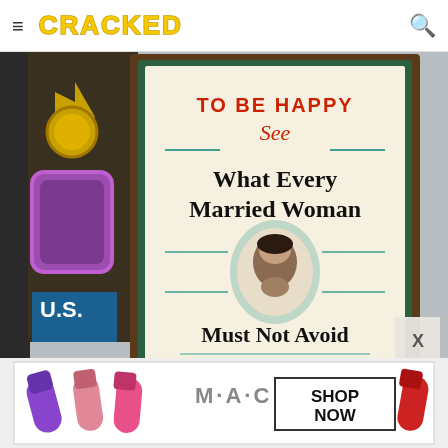CRACKED
[Figure (photo): A vintage book or pamphlet in a framed display showing text: 'TO BE HAPPY See What Every Married Woman Must Not Avoid' with a portrait illustration of a woman, surrounded by antique shop items]
[Figure (photo): MAC cosmetics advertisement banner showing lipsticks in purple, pink, and red colors with 'SHOP NOW' text]